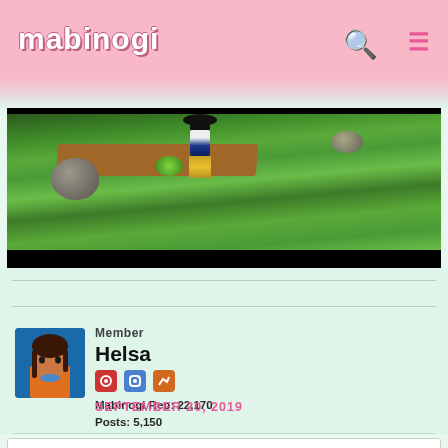mabinogi
[Figure (screenshot): Mabinogi game screenshot showing a character in a green field landscape with brown path, rocks, and plants]
Member
Helsa
Mabinogi Rep: 22,170
Posts: 5,150
SEPTEMBER 20, 2019
Sherri wrote: »
Nope BUT I'M EXCITED FOR THAT TOO! 😝